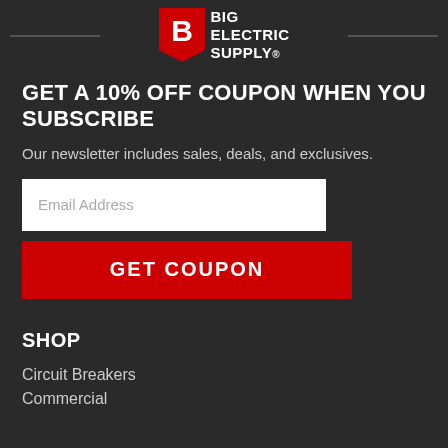[Figure (logo): Bid Electric Supply logo with red shield icon containing a B letter and white bold text BID ELECTRIC SUPPLY]
GET A 10% OFF COUPON WHEN YOU SUBSCRIBE
Our newsletter includes sales, deals, and exclusives.
Email Address (input field)
GET COUPON (button)
SHOP
Circuit Breakers
Commercial